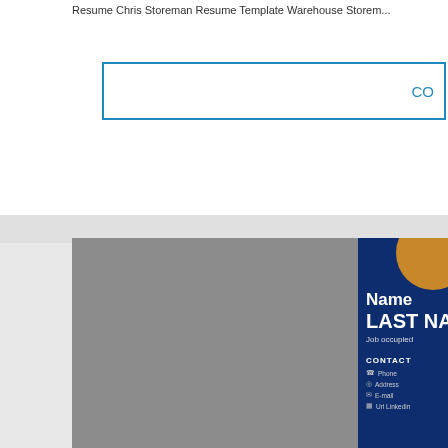Resume Chris Storeman Resume Template Warehouse Storem...
CO...
[Figure (illustration): Resume template preview showing a two-column layout. Left column is gray (photo placeholder area). Right column is dark navy blue with a gold circle avatar at top, white bold name 'Name LAST NAM...' and 'Job occupied' subtitle, followed by CONTACT section with Phone, Address, E-mail, Url Linkedin, and EDUCATION section with three DIPLOMA XXXXXXXXXXXXXXXXXX entries each showing University, School and 20XX - 20XX date range.]